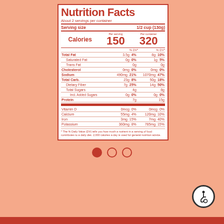Nutrition Facts
About 2 servings per container
Serving size  1/2 cup (130g)
|  | Per serving | Per container |
| --- | --- | --- |
| Calories | 150 | 320 |
|  | % DV* | % DV* |
| Total Fat | 3.5g  4% | 8g  10% |
| Saturated Fat | 0g  0% | 1g  5% |
| Trans Fat | 0g | 0g |
| Cholesterol | 0mg  0% | 0mg  0% |
| Sodium | 490mg  21% | 1070mg  47% |
| Total Carb. | 23g  8% | 50g  18% |
| Dietary Fiber | 7g  25% | 14g  50% |
| Total Sugars | 4g | 8g |
| Incl. Added Sugars | 0g  0% | 0g  0% |
| Protein | 7g | 15g |
| Vitamin D | 0mcg  0% | 0mcg  0% |
| Calcium | 55mg  4% | 120mg  10% |
| Iron | 3mg  15% | 7mg  40% |
| Potassium | 360mg  8% | 785mg  15% |
* The % Daily Value (DV) tells you how much a nutrient in a serving of food contributes to a daily diet. 2,000 calories a day is used for general nutrition advice.
[Figure (infographic): Three pagination dots: one filled red circle (active), two open circles]